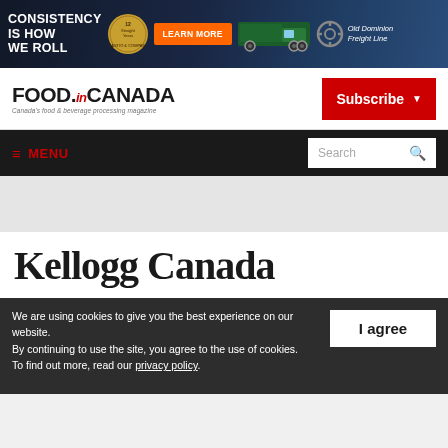[Figure (screenshot): Advertisement banner for Old Dominion Freight Line with dark background, truck image, orange 'LEARN MORE' button, and text 'CONSISTENCY IS HOW WE ROLL']
[Figure (logo): Food in Canada magazine logo with red 'in' and tagline 'Canada's food & beverage processing magazine']
[Figure (screenshot): Red Subscribe button with dropdown arrow]
[Figure (screenshot): Navigation bar with hamburger MENU in red and white Search box on dark background]
Kellogg Canada
We are using cookies to give you the best experience on our website. By continuing to use the site, you agree to the use of cookies. To find out more, read our privacy policy.